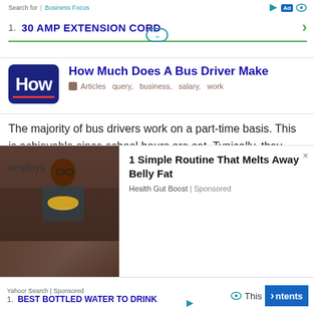Search for | Business Focus
1. 30 AMP EXTENSION CORD
How Much Does A Bus Driver Make
Articles  query,  business,  salary,  work
The majority of bus drivers work on a part-time basis. This is achievable since school hours are set. Typically, they work in various capacities during their downtime.
[Figure (photo): Ad image showing a person cooking or presenting food in a kitchen setting]
1 Simple Routine That Melts Away Belly Fat
Health Gut Boost | Sponsored
vehicle n    1 for manner,  employs
1. BEST BOTTLED WATER TO DRINK  Yahoo! Search | Sponsored